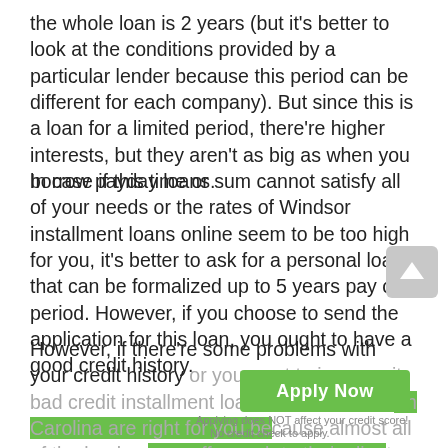the whole loan is 2 years (but it's better to look at the conditions provided by a particular lender because this period can be different for each company). But since this is a loan for a limited period, there're higher interests, but they aren't as big as when you borrow payday loans.
In case if this time or sum cannot satisfy all of your needs or the rates of Windsor installment loans online seem to be too high for you, it's better to ask for a personal loan that can be formalized up to 5 years pay off period. However, if you choose to send the application for this loan, you ought to have a good credit history.
However, if there're some problems with your credit history or you want to improve it, bad credit installment loans Windsor in North Carolina are right for you because almost all of the lenders can offer cash to their clients with no credit check. But in case if you notice that a particular company guarantees that they won't pay attention to this information at all, it's better to avoid these organizations